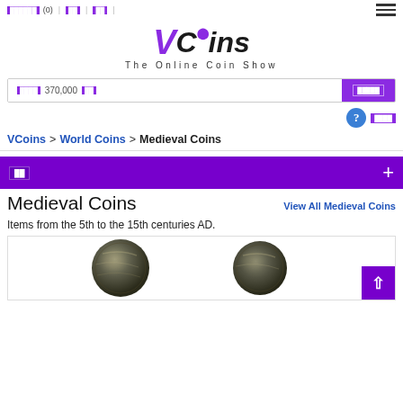[nav items] (0) | [link] | [link] |
[Figure (logo): VCoins logo with purple stylized V and dark italic text 'Coins', tagline 'The Online Coin Show']
[Search] 370,000 [items] [Search button]
[Help circle icon] [Help label]
VCoins > World Coins > Medieval Coins
[icon] +
Medieval Coins
View All Medieval Coins
Items from the 5th to the 15th centuries AD.
[Figure (photo): Two ancient medieval coins shown side by side on white background]